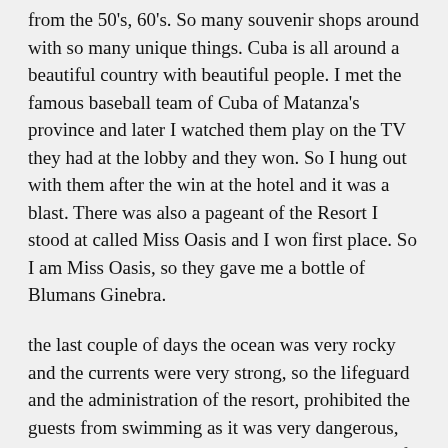from the 50's, 60's. So many souvenir shops around with so many unique things. Cuba is all around a beautiful country with beautiful people. I met the famous baseball team of Cuba of Matanza's province and later I watched them play on the TV they had at the lobby and they won. So I hung out with them after the win at the hotel and it was a blast. There was also a pageant of the Resort I stood at called Miss Oasis and I won first place. So I am Miss Oasis, so they gave me a bottle of Blumans Ginebra.
the last couple of days the ocean was very rocky and the currents were very strong, so the lifeguard and the administration of the resort, prohibited the guests from swimming as it was very dangerous, so everyone hung out by the pool side and a lot of people went into town. The winds were so strong and then after that, It was our last day and after checking out, we hung out with